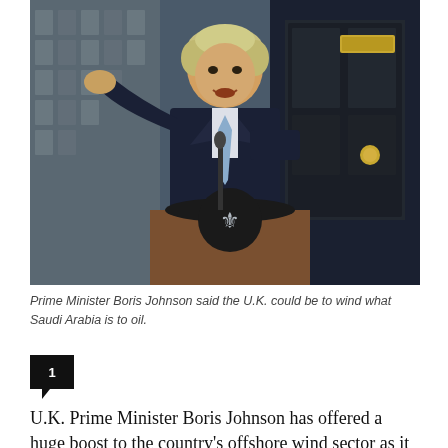[Figure (photo): Prime Minister Boris Johnson speaking at a podium with the UK royal crest, gesturing with his right hand, wearing a dark suit and light blue tie, photographed outside 10 Downing Street]
Prime Minister Boris Johnson said the U.K. could be to wind what Saudi Arabia is to oil.
1
U.K. Prime Minister Boris Johnson has offered a huge boost to the country's offshore wind sector as it